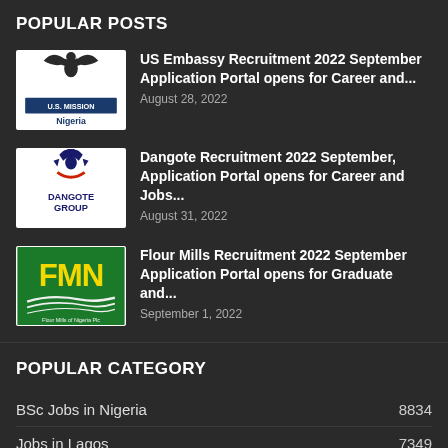POPULAR POSTS
US Embassy Recruitment 2022 September Application Portal opens for Career and... | August 28, 2022
Dangote Recruitment 2022 September, Application Portal opens for Career and Jobs... | August 31, 2022
Flour Mills Recruitment 2022 September Application Portal opens for Graduate and... | September 1, 2022
POPULAR CATEGORY
BSc Jobs in Nigeria   8834
Jobs in Lagos   7349